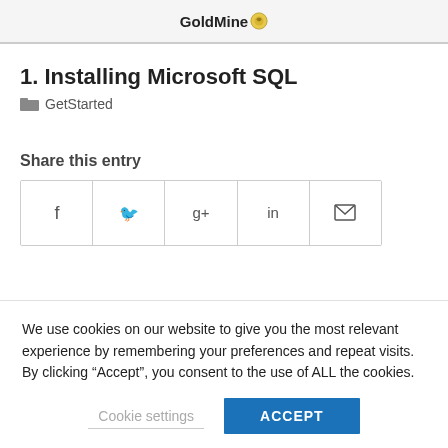GoldMine
1. Installing Microsoft SQL
GetStarted
Share this entry
[Figure (other): Social share buttons: Facebook, Twitter, Google+, LinkedIn, Email]
We use cookies on our website to give you the most relevant experience by remembering your preferences and repeat visits. By clicking “Accept”, you consent to the use of ALL the cookies.